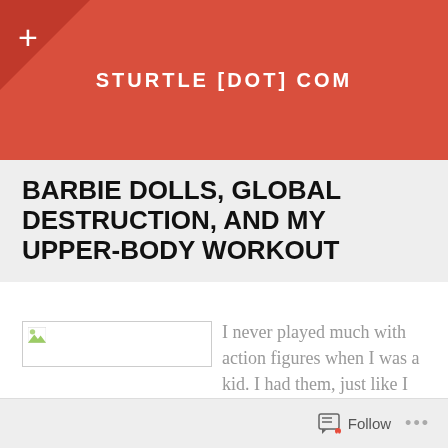STURTLE [DOT] COM
BARBIE DOLLS, GLOBAL DESTRUCTION, AND MY UPPER-BODY WORKOUT
[Figure (photo): Broken/unloaded image placeholder with green image icon in top-left corner]
I never played much with action figures when I was a kid. I had them, just like I had Fisher Price Little People and
Follow ...